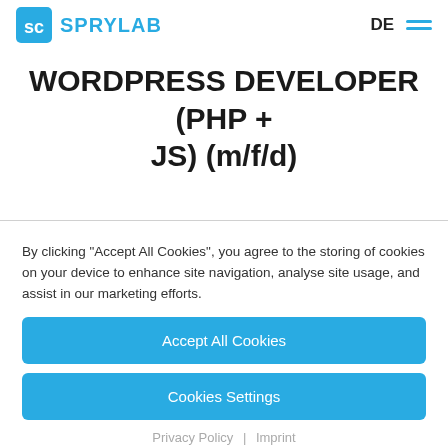SPRYLAB | DE
WORDPRESS DEVELOPER (PHP + JS) (m/f/d)
By clicking "Accept All Cookies", you agree to the storing of cookies on your device to enhance site navigation, analyse site usage, and assist in our marketing efforts.
Accept All Cookies
Cookies Settings
Privacy Policy | Imprint